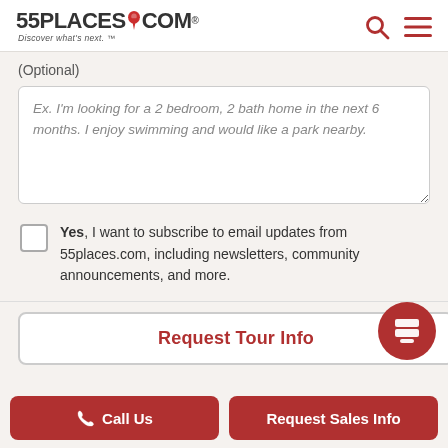55PLACES.COM — Discover what's next.
(Optional)
Ex. I'm looking for a 2 bedroom, 2 bath home in the next 6 months. I enjoy swimming and would like a park nearby.
Yes, I want to subscribe to email updates from 55places.com, including newsletters, community announcements, and more.
Request Tour Info
Call Us
Request Sales Info